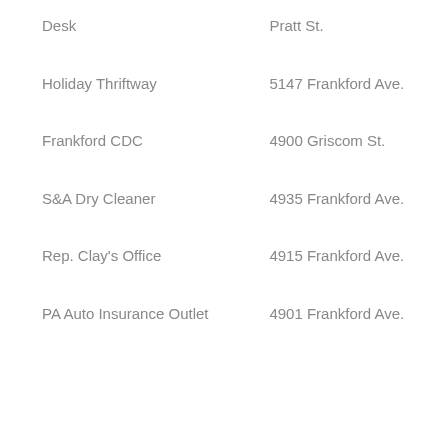Desk | Pratt St.
Holiday Thriftway | 5147 Frankford Ave.
Frankford CDC | 4900 Griscom St.
S&A Dry Cleaner | 4935 Frankford Ave.
Rep. Clay's Office | 4915 Frankford Ave.
PA Auto Insurance Outlet | 4901 Frankford Ave.